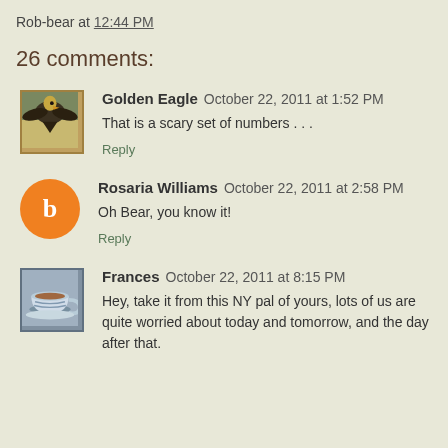Rob-bear at 12:44 PM
26 comments:
Golden Eagle  October 22, 2011 at 1:52 PM
That is a scary set of numbers . . .
Reply
Rosaria Williams  October 22, 2011 at 2:58 PM
Oh Bear, you know it!
Reply
Frances  October 22, 2011 at 8:15 PM
Hey, take it from this NY pal of yours, lots of us are quite worried about today and tomorrow, and the day after that.